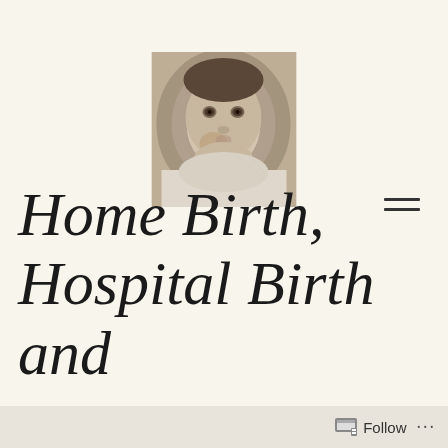[Figure (photo): Black and white photograph of a baby looking at the camera, positioned at the top center of the page]
[Figure (other): Hamburger menu icon (two horizontal lines) in the right side of the page]
Home Birth, Hospital Birth and
Follow ...